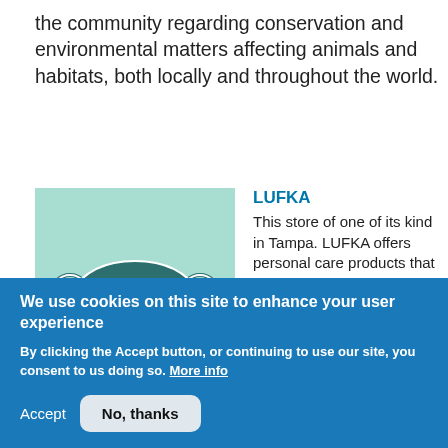the community regarding conservation and environmental matters affecting animals and habitats, both locally and throughout the world.
[Figure (logo): LUFKA logo on a mint/teal green background - a diamond/lens shape in dark teal with circles on each side and the text LÜFKA in white]
LUFKA
This store of one of its kind in Tampa. LUFKA offers personal care products that are 100% organic, plastic-free, and vegan. These products are sold with
We use cookies on this site to enhance your user experience
By clicking the Accept button, or continuing to use our site, you consent to us doing so. More info
Accept
No, thanks